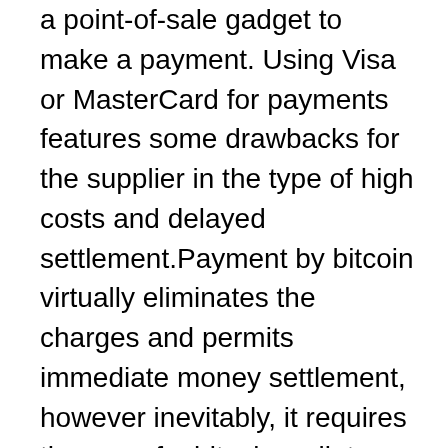a point-of-sale gadget to make a payment. Using Visa or MasterCard for payments features some drawbacks for the supplier in the type of high costs and delayed settlement.Payment by bitcoin virtually eliminates the charges and permits immediate money settlement, however inevitably, it requires the use of a bitcoin wallet, usually on your mobile phone. So you need a decent phone, then to open your wallet app, scan the QR code and then tap a button to confirm the transaction. This also relies on a quick and stable web connection to enable the deal to complete.Not extremely user friendly.The Bolt Card fixes this. Basically, as soon as you have actually established your Bolt Card by matching it with your CoinCorner account (noncustodial services are in advancement) to buy something using bitcoin you simply tap the Bolt Card on the POS device, the exact same as you would a Visa or MasterCard card. The Bolt Card utilizes NFC to communicate with the POS gadget (or perhaps